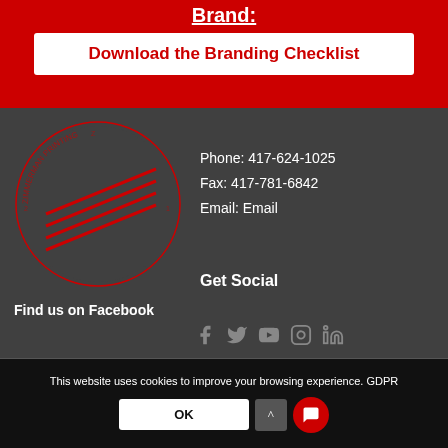Brand:
Download the Branding Checklist
[Figure (logo): Circular company logo with red diagonal lines on dark background]
Phone: 417-624-1025
Fax: 417-781-6842
Email: Email
Find us on Facebook
Get Social
[Figure (infographic): Social media icons: Facebook, Twitter, YouTube, Instagram, LinkedIn]
This website uses cookies to improve your browsing experience. GDPR
OK